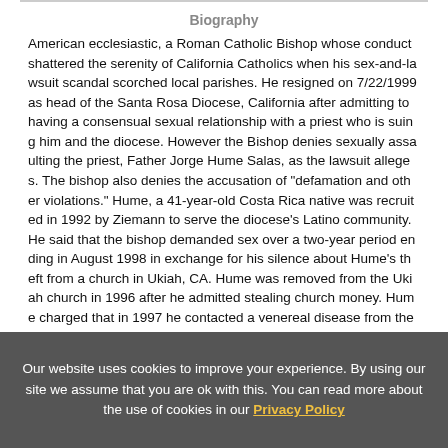Biography
American ecclesiastic, a Roman Catholic Bishop whose conduct shattered the serenity of California Catholics when his sex-and-lawsuit scandal scorched local parishes. He resigned on 7/22/1999 as head of the Santa Rosa Diocese, California after admitting to having a consensual sexual relationship with a priest who is suing him and the diocese. However the Bishop denies sexually assaulting the priest, Father Jorge Hume Salas, as the lawsuit alleges. The bishop also denies the accusation of "defamation and other violations." Hume, a 41-year-old Costa Rica native was recruited in 1992 by Ziemann to serve the diocese's Latino community. He said that the bishop demanded sex over a two-year period ending in August 1998 in exchange for his silence about Hume's theft from a church in Ukiah, CA. Hume was removed from the Ukiah church in 1996 after he admitted stealing church money. Hume charged that in 1997 he contacted a venereal disease from the bishop. He is seeking damages of some $8 million.
Our website uses cookies to improve your experience. By using our site we assume that you are ok with this. You can read more about the use of cookies in our Privacy Policy